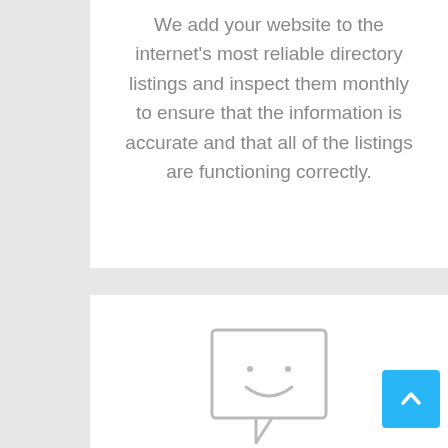We add your website to the internet's most reliable directory listings and inspect them monthly to ensure that the information is accurate and that all of the listings are functioning correctly.
[Figure (illustration): A simple smiley face inside a speech bubble chat icon, rendered in light gray outline style.]